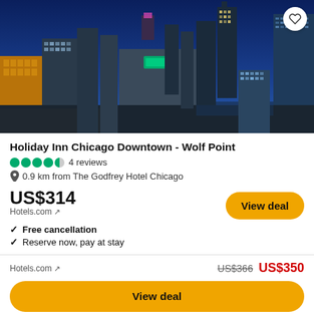[Figure (photo): Aerial night view of Chicago downtown skyline showing illuminated skyscrapers including the Willis Tower, with the Chicago River visible and a Holiday Inn hotel in the foreground]
Holiday Inn Chicago Downtown - Wolf Point
●●●●◐ 4 reviews
0.9 km from The Godfrey Hotel Chicago
US$314
Hotels.com ↗
Free cancellation
Reserve now, pay at stay
Hotels.com ↗
US$366  US$350